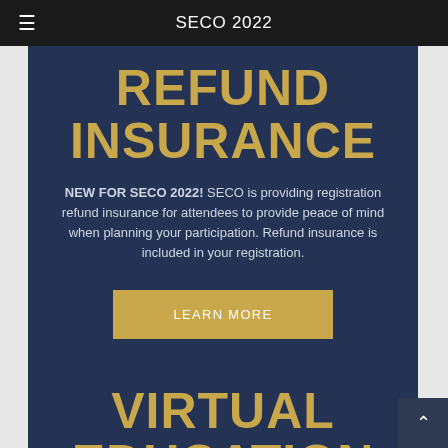SECO 2022
REFUND INSURANCE
NEW FOR SECO 2022! SECO is providing registration refund insurance for attendees to provide peace of mind when planning your participation. Refund insurance is included in your registration.
LEARN MORE
VIRTUAL EDUCATION